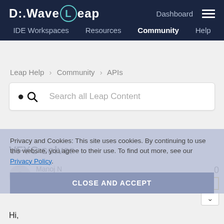D-Wave Leap — Dashboard | IDE Workspaces | Resources | Community | Help
Leap Help › Community › APIs
Search all Leap Content
VFYC solver
Manoj N
January 22, 2019 08:17
Privacy and Cookies: This site uses cookies. By continuing to use this website, you agree to their use. To find out more, see our Privacy Policy.
CLOSE AND ACCEPT
Hi,